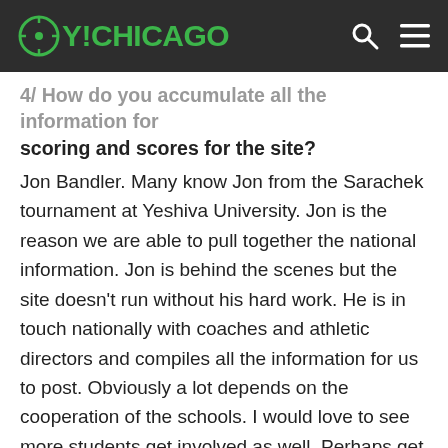OY!CHICAGO
4/ How do you accumulate all the information for scoring and scores for the site?
Jon Bandler. Many know Jon from the Sarachek tournament at Yeshiva University. Jon is the reason we are able to pull together the national information. Jon is behind the scenes but the site doesn't run without his hard work. He is in touch nationally with coaches and athletic directors and compiles all the information for us to post. Obviously a lot depends on the cooperation of the schools. I would love to see more students get involved as well. Perhaps get credit for a club or put on their résumé their work as a reporter for the site. I think it's been great in the past when we have student-written articles about their teams'